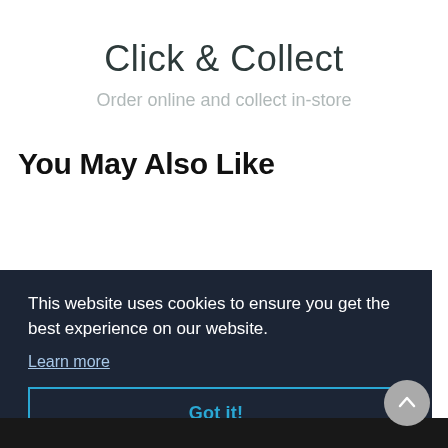Click & Collect
Order online and collect in-store
You May Also Like
[Figure (photo): Partial view of a dark product (appears to be sports/exercise equipment) visible behind the cookie banner]
This website uses cookies to ensure you get the best experience on our website.
Learn more
Got it!